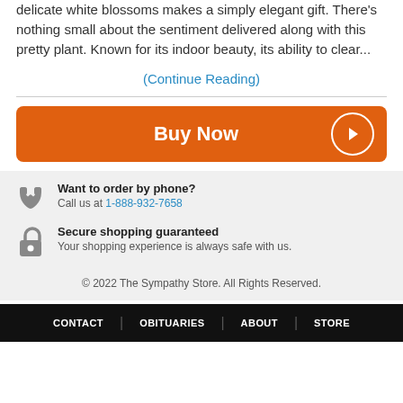delicate white blossoms makes a simply elegant gift. There's nothing small about the sentiment delivered along with this pretty plant. Known for its indoor beauty, its ability to clear...
(Continue Reading)
Buy Now
Want to order by phone?
Call us at 1-888-932-7658
Secure shopping guaranteed
Your shopping experience is always safe with us.
© 2022 The Sympathy Store. All Rights Reserved.
CONTACT | OBITUARIES | ABOUT | STORE